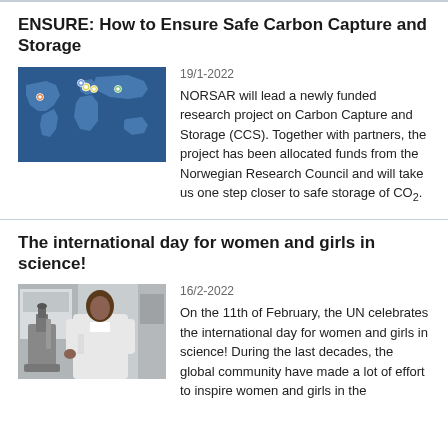ENSURE: How to Ensure Safe Carbon Capture and Storage
[Figure (map): World map with location markers indicating project partner sites, blue background]
19/1-2022
NORSAR will lead a newly funded research project on Carbon Capture and Storage (CCS). Together with partners, the project has been allocated funds from the Norwegian Research Council and will take us one step closer to safe storage of CO₂.
The international day for women and girls in science!
[Figure (photo): Woman in white lab coat working at a microscope in a laboratory setting]
16/2-2022
On the 11th of February, the UN celebrates the international day for women and girls in science! During the last decades, the global community have made a lot of effort to inspire women and girls in the